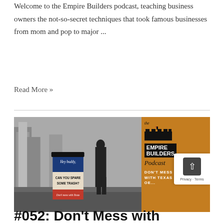Welcome to the Empire Builders podcast, teaching business owners the not-so-secret techniques that took famous businesses from mom and pop to major ...
Read More »
[Figure (photo): Image showing a trash can with 'Hey buddy, CAN YOU SPARE SOME TRASH? Don't mess with Texas' text, alongside The Empire Builders Podcast logo on an orange background with 'DON'T MESS WITH TEXAS' text]
#052: Don't Mess with